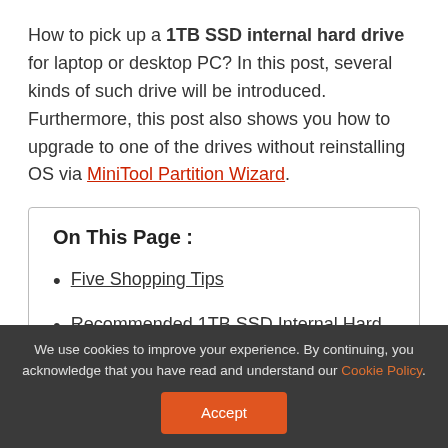How to pick up a 1TB SSD internal hard drive for laptop or desktop PC? In this post, several kinds of such drive will be introduced. Furthermore, this post also shows you how to upgrade to one of the drives without reinstalling OS via MiniTool Partition Wizard.
On This Page :
Five Shopping Tips
Recommended 1TB SSD Internal Hard Drives
We use cookies to improve your experience. By continuing, you acknowledge that you have read and understand our Cookie Policy.